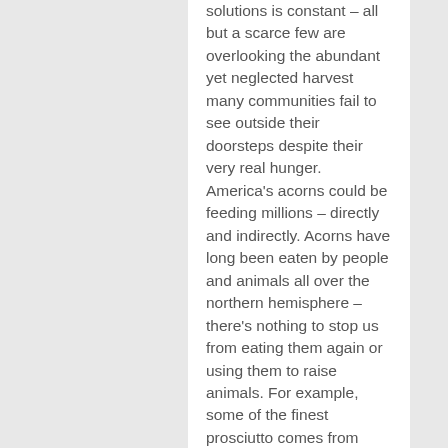solutions is constant – all but a scarce few are overlooking the abundant yet neglected harvest many communities fail to see outside their doorsteps despite their very real hunger. America's acorns could be feeding millions – directly and indirectly. Acorns have long been eaten by people and animals all over the northern hemisphere – there's nothing to stop us from eating them again or using them to raise animals. For example, some of the finest prosciutto comes from acorn-fed free-roaming Iberico pigs in Spain. Instead of acorns being a landscaping nuisance, we need to embrace them for what they are: hyper-local, nutrient-dense, gluten-free, perennial, wild-